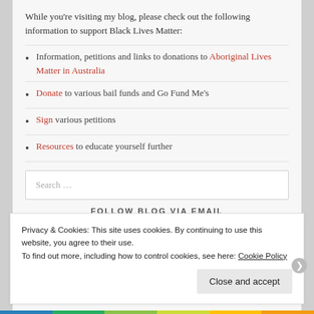While you're visiting my blog, please check out the following information to support Black Lives Matter:
Information, petitions and links to donations to Aboriginal Lives Matter in Australia
Donate to various bail funds and Go Fund Me's
Sign various petitions
Resources to educate yourself further
Search …
FOLLOW BLOG VIA EMAIL
Privacy & Cookies: This site uses cookies. By continuing to use this website, you agree to their use.
To find out more, including how to control cookies, see here: Cookie Policy
Close and accept